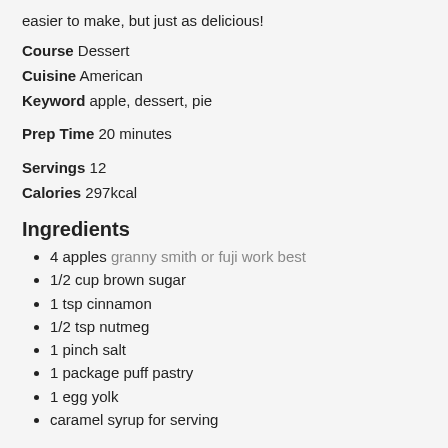easier to make, but just as delicious!
Course  Dessert
Cuisine  American
Keyword  apple, dessert, pie
Prep Time  20 minutes
Servings  12
Calories  297kcal
Ingredients
4 apples granny smith or fuji work best
1/2 cup brown sugar
1 tsp cinnamon
1/2 tsp nutmeg
1 pinch salt
1 package puff pastry
1 egg yolk
caramel syrup for serving
Instructions
1. Preheat the oven to...